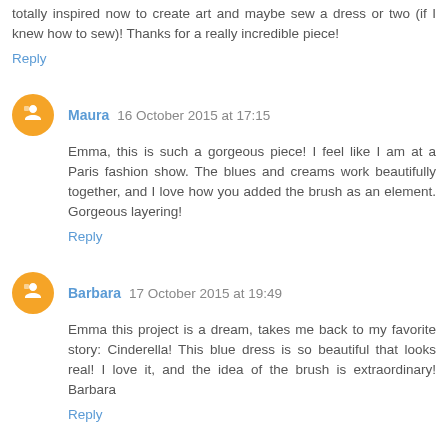totally inspired now to create art and maybe sew a dress or two (if I knew how to sew)! Thanks for a really incredible piece!
Reply
Maura  16 October 2015 at 17:15
Emma, this is such a gorgeous piece! I feel like I am at a Paris fashion show. The blues and creams work beautifully together, and I love how you added the brush as an element. Gorgeous layering!
Reply
Barbara  17 October 2015 at 19:49
Emma this project is a dream, takes me back to my favorite story: Cinderella! This blue dress is so beautiful that looks real! I love it, and the idea of the brush is extraordinary! Barbara
Reply